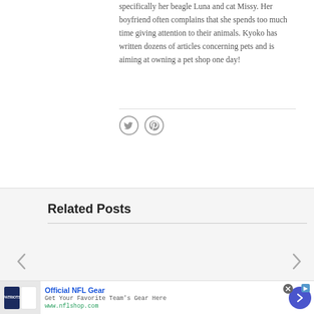specifically her beagle Luna and cat Missy. Her boyfriend often complains that she spends too much time giving attention to their animals. Kyoko has written dozens of articles concerning pets and is aiming at owning a pet shop one day!
[Figure (other): Social media icons: Twitter bird icon and Pinterest icon, both in gray circle outlines]
Related Posts
[Figure (other): Left navigation arrow chevron for related posts carousel]
[Figure (other): Right navigation arrow chevron for related posts carousel]
[Figure (other): Advertisement banner: Official NFL Gear - Get Your Favorite Team's Gear Here - www.nflshop.com, with NFL jersey image on left and blue arrow button on right]